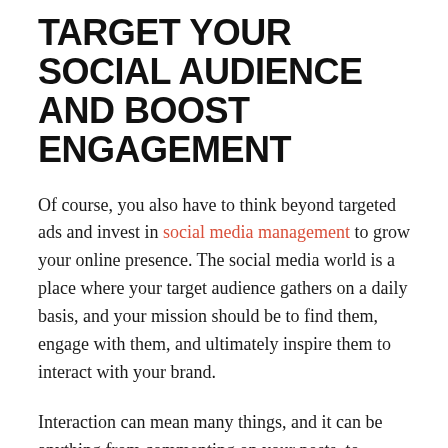TARGET YOUR SOCIAL AUDIENCE AND BOOST ENGAGEMENT
Of course, you also have to think beyond targeted ads and invest in social media management to grow your online presence. The social media world is a place where your target audience gathers on a daily basis, and your mission should be to find them, engage with them, and ultimately inspire them to interact with your brand.
Interaction can mean many things, and it can be anything from commenting on your posts, to